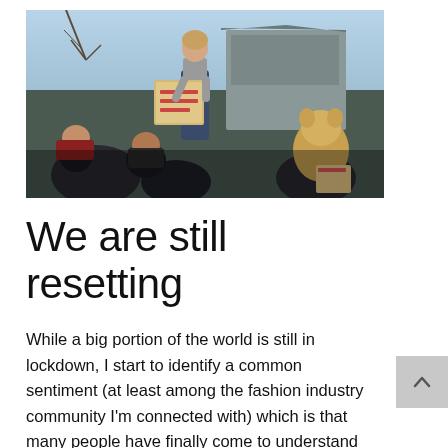[Figure (photo): Outdoor photo of young people at what appears to be a protest or demonstration. A girl stands elevated holding a cardboard sign with text. Other people are seated or standing nearby. Buildings and bare trees visible in the background against a light blue sky.]
We are still resetting
While a big portion of the world is still in lockdown, I start to identify a common sentiment (at least among the fashion industry community I'm connected with) which is that many people have finally come to understand that...